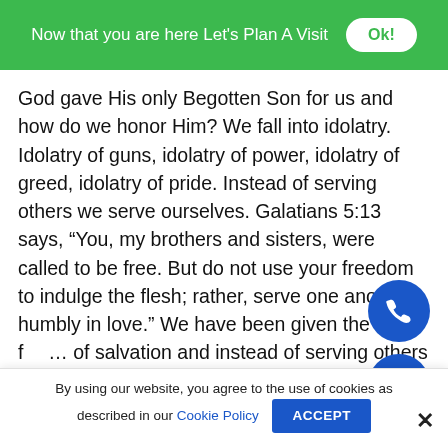Now that you are here Let's Plan A Visit  Ok!
God gave His only Begotten Son for us and how do we honor Him? We fall into idolatry. Idolatry of guns, idolatry of power, idolatry of greed, idolatry of pride. Instead of serving others we serve ourselves. Galatians 5:13 says, “You, my brothers and sisters, were called to be free. But do not use your freedom to indulge the flesh; rather, serve one another humbly in love.” We have been given the fr… of salvation and instead of serving others with love, we serve our own flesh.  How would Jesus react?
Jesus was angry when he went to the temple courts and drove out the money changers.  He turned over the tables in
By using our website, you agree to the use of cookies as described in our Cookie Policy  ACCEPT  ×